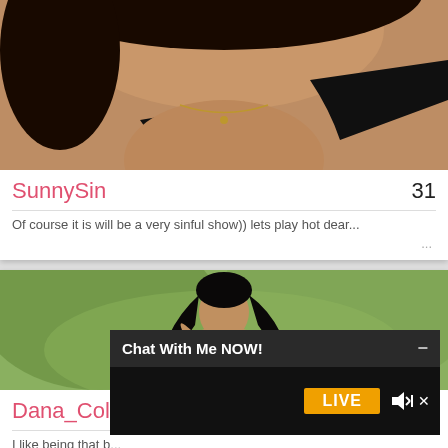[Figure (photo): Close-up photo of a woman with dark hair, wearing a black strap top and a gold necklace, cropped at the shoulders]
SunnySin
31
Of course it is will be a very sinful show)) lets play hot dear...
...
[Figure (photo): Photo of a young woman with long black hair wearing a dark top, posing outdoors with greenery in background]
Chat With Me NOW!
LIVE
Dana_Colema...
I like being that b...